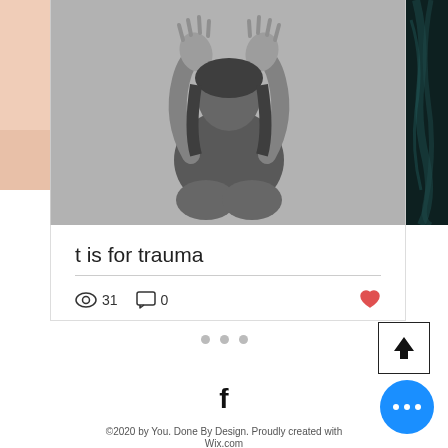[Figure (photo): Website screenshot showing a blog post card. Top section shows three images side by side: partial skin/arm on left, black and white photo of person with hands raised covering face in center, dark teal smoke on right. Below is a card with the blog post title 't is for trauma', a divider line, view count of 31, comment count of 0, and a heart/like icon. Below the card are pagination dots, an up-arrow button, a Facebook icon, a blue chat button, and footer copyright text.]
t is for trauma
31
0
©2020 by You. Done By Design. Proudly created with Wix.com